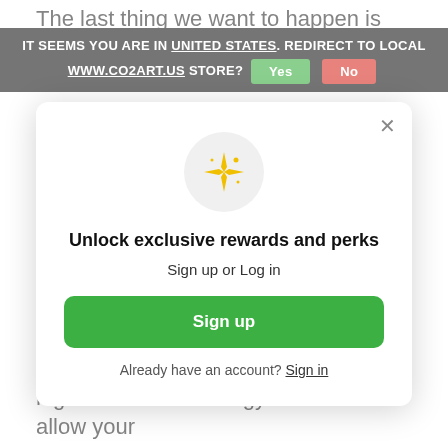The last thing we want to happen is your plants going without carbon dioxide and all that healthy green lush growth. There are a few types of cylinders which are available, however, in some countries, it can be different.
CO2 fire extinguisher, Sodastream cylinder, Paintball cylinder, disposable bottle. You
[Figure (screenshot): Redirect banner: IT SEEMS YOU ARE IN UNITED STATES. REDIRECT TO LOCAL WWW.CO2ART.US STORE? Yes (green button) No (red button)]
[Figure (screenshot): Modal popup: sparkle icon, 'Unlock exclusive rewards and perks', 'Sign up or Log in', green 'Sign up' button, 'Already have an account? Sign in' link, with X close button]
high amounts of energy needed to allow your